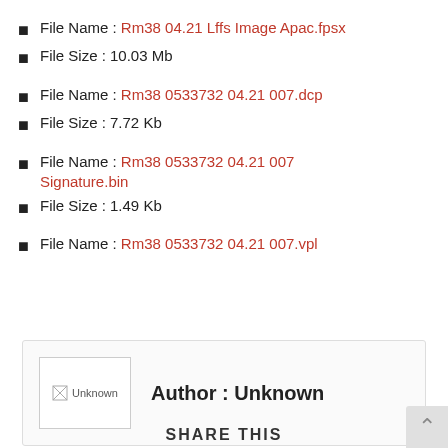File Name : Rm38 04.21 Lffs Image Apac.fpsx
File Size : 10.03 Mb
File Name : Rm38 0533732 04.21 007.dcp
File Size : 7.72 Kb
File Name : Rm38 0533732 04.21 007 Signature.bin
File Size : 1.49 Kb
File Name : Rm38 0533732 04.21 007.vpl
Author : Unknown
SHARE THIS